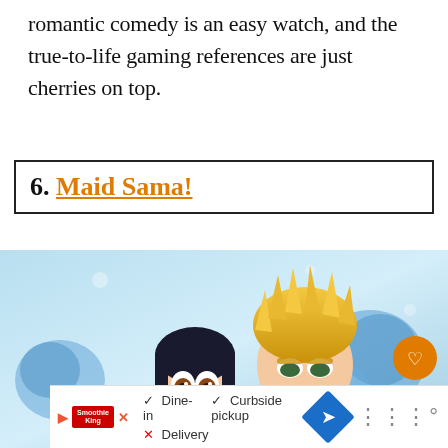romantic comedy is an easy watch, and the true-to-life gaming references are just cherries on top.
6. Maid Sama!
[Figure (illustration): Anime illustration from Maid Sama! showing two characters: a girl with dark hair and wide brown eyes looking surprised, and a tall boy with spiky blonde hair, set against a blue floral background. Two circular UI buttons (heart and share) are visible on the right side.]
Dine-in  Curbside pickup  Delivery